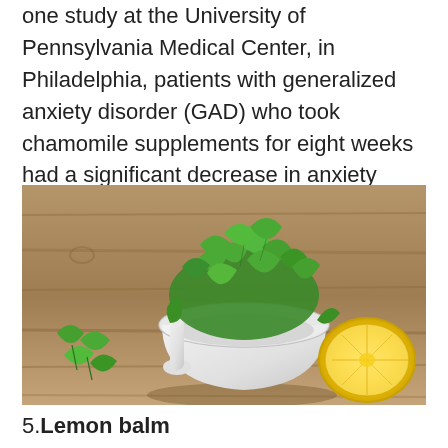one study at the University of Pennsylvania Medical Center, in Philadelphia, patients with generalized anxiety disorder (GAD) who took chamomile supplements for eight weeks had a significant decrease in anxiety symptoms compared to patients taking placebo.
[Figure (photo): A white mortar and pestle filled with fresh green mint/lemon balm leaves, with a halved lemon on the right side, all placed on a rustic wooden surface.]
5.Lemon balm